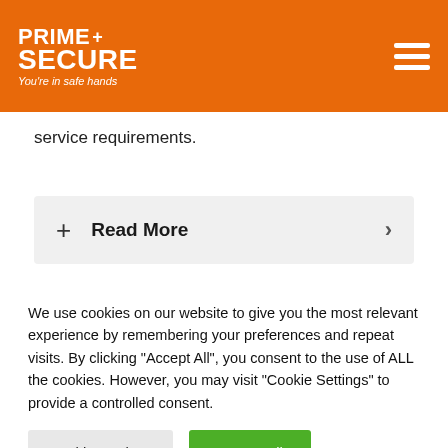PRIME+ SECURE – You're in safe hands
service requirements.
+ Read More
[Figure (other): GET A QUOTE banner with document icon on dark background and orange background with bold white italic text]
We use cookies on our website to give you the most relevant experience by remembering your preferences and repeat visits. By clicking "Accept All", you consent to the use of ALL the cookies. However, you may visit "Cookie Settings" to provide a controlled consent.
Cookie Settings   Accept All